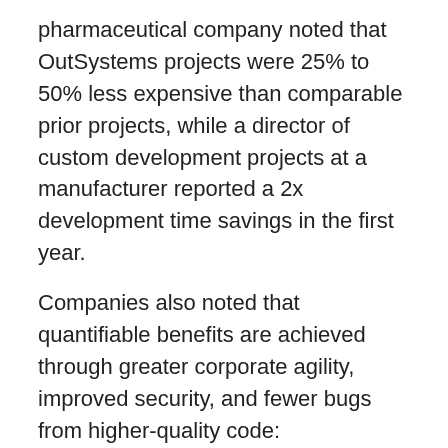pharmaceutical company noted that OutSystems projects were 25% to 50% less expensive than comparable prior projects, while a director of custom development projects at a manufacturer reported a 2x development time savings in the first year.
Companies also noted that quantifiable benefits are achieved through greater corporate agility, improved security, and fewer bugs from higher-quality code:
"As a result of an acquisition, we needed to make a change to one of our apps. We did that in less than eight